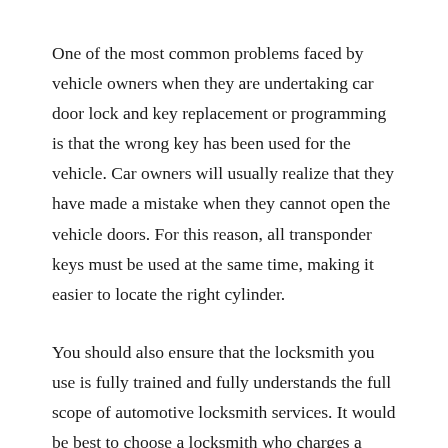One of the most common problems faced by vehicle owners when they are undertaking car door lock and key replacement or programming is that the wrong key has been used for the vehicle. Car owners will usually realize that they have made a mistake when they cannot open the vehicle doors. For this reason, all transponder keys must be used at the same time, making it easier to locate the right cylinder.
You should also ensure that the locksmith you use is fully trained and fully understands the full scope of automotive locksmith services. It would be best to choose a locksmith who charges a reasonable fee and guarantees a top-level service. They should also give you the option to speak to a trained professional should you need any help with the